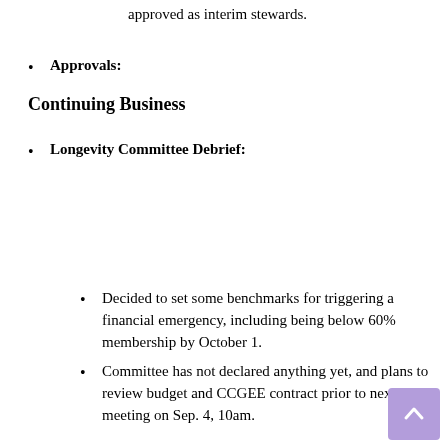approved as interim stewards.
Approvals:
Continuing Business
Longevity Committee Debrief:
Decided to set some benchmarks for triggering a financial emergency, including being below 60% membership by October 1.
Committee has not declared anything yet, and plans to review budget and CCGEE contract prior to next meeting on Sep. 4, 10am.